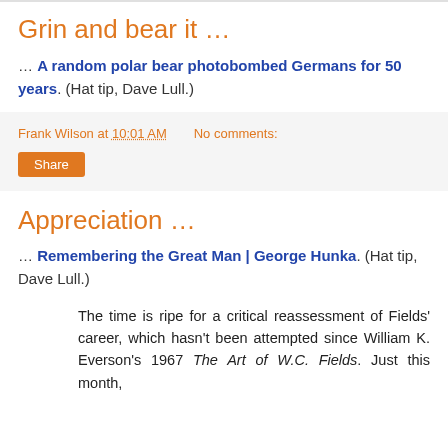Grin and bear it …
… A random polar bear photobombed Germans for 50 years. (Hat tip, Dave Lull.)
Frank Wilson at 10:01 AM   No comments:
Share
Appreciation …
… Remembering the Great Man | George Hunka. (Hat tip, Dave Lull.)
The time is ripe for a critical reassessment of Fields' career, which hasn't been attempted since William K. Everson's 1967 The Art of W.C. Fields. Just this month,